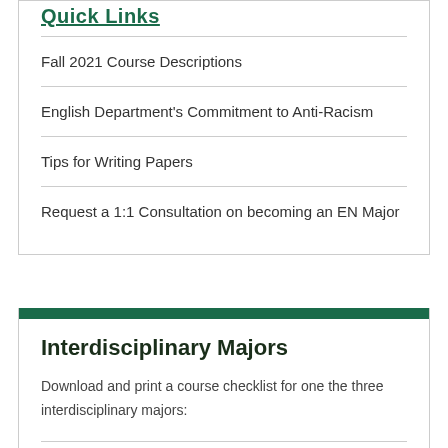Quick Links
Fall 2021 Course Descriptions
English Department's Commitment to Anti-Racism
Tips for Writing Papers
Request a 1:1 Consultation on becoming an EN Major
Interdisciplinary Majors
Download and print a course checklist for one the three interdisciplinary majors:
BA English and Writing